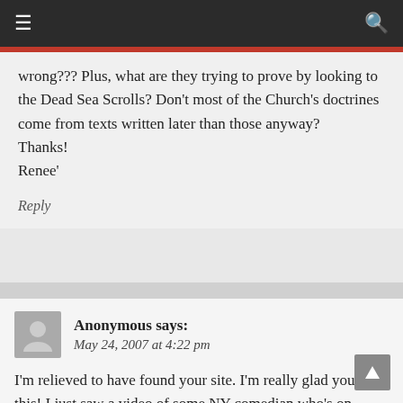≡  🔍
wrong??? Plus, what are they trying to prove by looking to the Dead Sea Scrolls? Don't most of the Church's doctrines come from texts written later than those anyway?
Thanks!
Renee'
Reply
Anonymous says:
May 24, 2007 at 4:22 pm
I'm relieved to have found your site. I'm really glad you do this! I just saw a video of some NY comedian who's on CNN, I think, saying that DNA issue proves Mormons incorrect etc.